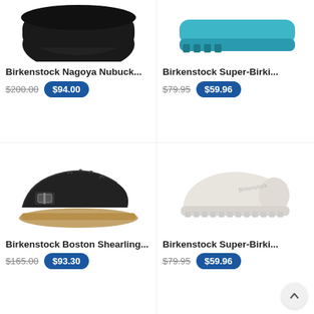[Figure (photo): Birkenstock Nagoya Nubuck black shoe, top portion visible]
Birkenstock Nagoya Nubuck...
$200.00  $94.00
[Figure (photo): Birkenstock Super-Birki teal/turquoise clog, top portion visible]
Birkenstock Super-Birki...
$79.95  $59.96
[Figure (photo): Birkenstock Boston Shearling black suede clog with buckle]
Birkenstock Boston Shearling...
$165.00  $93.30
[Figure (photo): Birkenstock Super-Birki white/off-white clog]
Birkenstock Super-Birki...
$79.95  $59.96